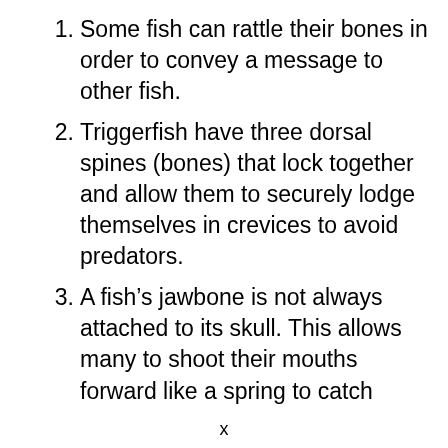Some fish can rattle their bones in order to convey a message to other fish.
Triggerfish have three dorsal spines (bones) that lock together and allow them to securely lodge themselves in crevices to avoid predators.
A fish’s jawbone is not always attached to its skull. This allows many to shoot their mouths forward like a spring to catch
x